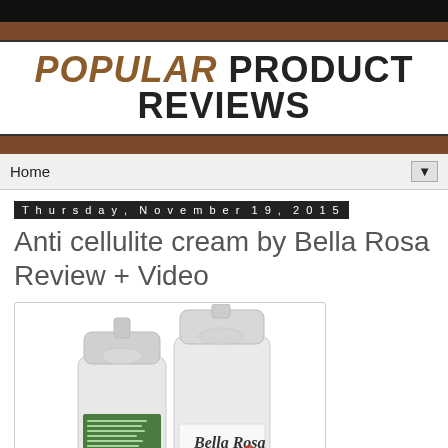POPULAR PRODUCT REVIEWS
Home
Thursday, November 19, 2015
Anti cellulite cream by Bella Rosa Review + Video
[Figure (photo): Two white pump-dispenser bottles of Bella Rosa anti-cellulite cream, one showing the front label with the Bella Rosa logo and a rose, the other showing the green ingredient list label on the back.]